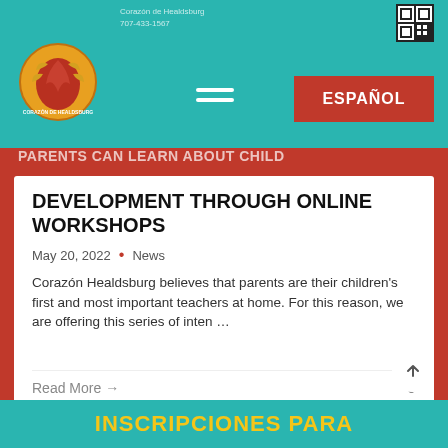[Figure (logo): Corazon de Healdsburg circular logo with red heart and wheat/corn design on gold/orange background]
Corazón de Healdsburg
707-433-1567
[Figure (other): QR code in top right corner]
[Figure (other): Hamburger menu icon (two horizontal lines)]
ESPAÑOL
PARENTS CAN LEARN ABOUT CHILD
DEVELOPMENT THROUGH ONLINE WORKSHOPS
May 20, 2022  •  News
Corazón Healdsburg believes that parents are their children's first and most important teachers at home. For this reason, we are offering this series of inten …
Read More →
0
INSCRIPCIONES PARA